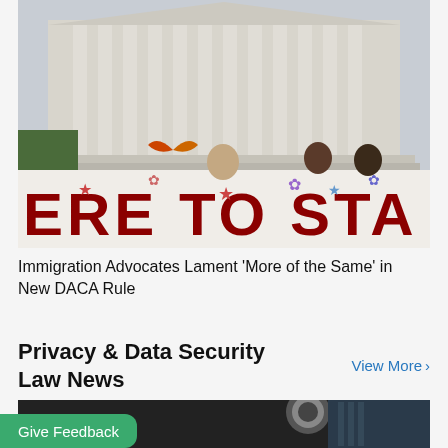[Figure (photo): Protesters outside the US Supreme Court building holding a large banner that reads 'HERE TO STAY' with colorful decorations]
Immigration Advocates Lament ‘More of the Same’ in New DACA Rule
Privacy & Data Security Law News
View More ›
[Figure (photo): Partial view of a dark/black photo at the bottom of the page]
Give Feedback